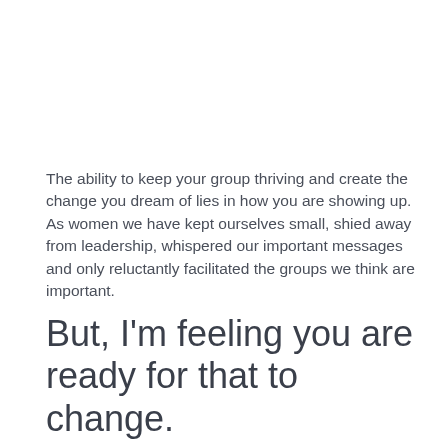The ability to keep your group thriving and create the change you dream of lies in how you are showing up. As women we have kept ourselves small, shied away from leadership, whispered our important messages and only reluctantly facilitated the groups we think are important.
But, I'm feeling you are ready for that to change.
You are over waiting for the group you want and need to be set up by someone else
You are over not making decisions because you don't